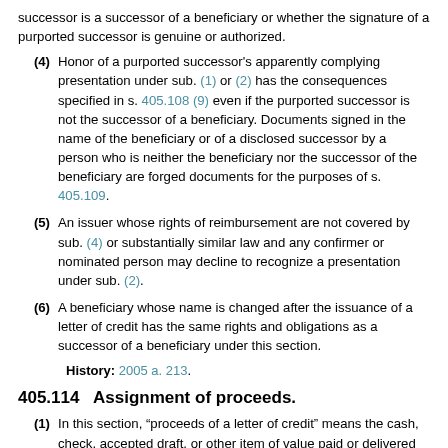successor is a successor of a beneficiary or whether the signature of a purported successor is genuine or authorized.
(4) Honor of a purported successor's apparently complying presentation under sub. (1) or (2) has the consequences specified in s. 405.108 (9) even if the purported successor is not the successor of a beneficiary. Documents signed in the name of the beneficiary or of a disclosed successor by a person who is neither the beneficiary nor the successor of the beneficiary are forged documents for the purposes of s. 405.109.
(5) An issuer whose rights of reimbursement are not covered by sub. (4) or substantially similar law and any confirmer or nominated person may decline to recognize a presentation under sub. (2).
(6) A beneficiary whose name is changed after the issuance of a letter of credit has the same rights and obligations as a successor of a beneficiary under this section.
History: 2005 a. 213.
405.114   Assignment of proceeds.
(1) In this section, “proceeds of a letter of credit” means the cash, check, accepted draft, or other item of value paid or delivered upon honor or giving of value by the issuer or any nominated person under the letter of credit. The term does not include beneficiary’s drawing rights or documents presented by th…